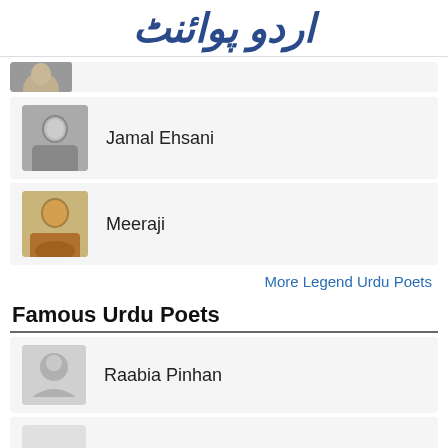اردو پوائنٹ
[Figure (other): Partial poet card at top, cropped]
Jamal Ehsani
Meeraji
More Legend Urdu Poets
Famous Urdu Poets
Raabia Pinhan
Nazir Wahid
Asrar Saifi